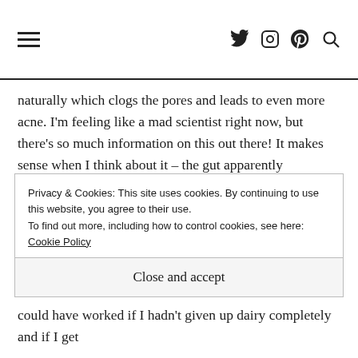≡  [twitter] [instagram] [pinterest] [search]
naturally which clogs the pores and leads to even more acne. I'm feeling like a mad scientist right now, but there's so much information on this out there! It makes sense when I think about it – the gut apparently contributes to 70% of our immune system, so when it's unhappy (understatement of the year) that I've fed it dairy, to cause such a reaction from my stomach, it too would surely manifest itself elsewhere too – for me that's in the form of acne and skin rashes.

I can attribute my better skin these days to skincare and a complete ban of dairy and also gluten in my diet- which whilst it
Privacy & Cookies: This site uses cookies. By continuing to use this website, you agree to their use.
To find out more, including how to control cookies, see here: Cookie Policy
Close and accept
could have worked if I hadn't given up dairy completely and if I get